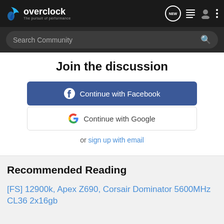overclock — The pursuit of performance
Join the discussion
Continue with Facebook
Continue with Google
or sign up with email
Recommended Reading
[FS] 12900k, Apex Z690, Corsair Dominator 5600MHz CL36 2x16gb